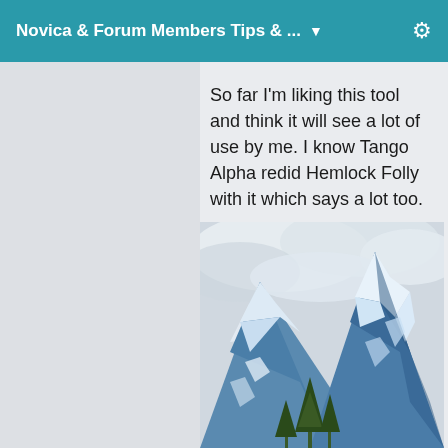Novica & Forum Members Tips & ...
So far I'm liking this tool and think it will see a lot of use by me. I know Tango Alpha redid Hemlock Folly with it which says a lot too.
[Figure (photo): Snow-capped mountain peaks with blue rocky faces and white cloudy sky, with green evergreen trees visible at the bottom.]